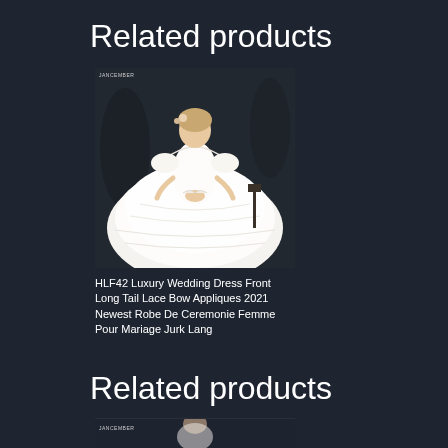Related products
[Figure (photo): Woman in white luxury ball gown wedding dress with long train, off-shoulder lace design, standing in dark studio setting. JANCEMBER label visible in corner.]
HLF42 Luxury Wedding Dress Front Long Tail Lace Bow Appliques 2021 Newest Robe De Ceremonie Femme Pour Mariage Jurk Lang
Related products
[Figure (photo): Partially visible product image of a wedding dress, showing JANCEMBER branding label and partial figure, cropped at page bottom.]